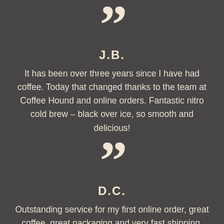[Figure (illustration): Large decorative closing quotation mark in cream/beige color]
J.B.
It has been over three years since I have had coffee. Today that changed thanks to the team at Coffee Hound and online orders. Fantastic nitro cold brew – black over ice, so smooth and delicious!
[Figure (illustration): Large decorative closing quotation mark in cream/beige color]
D.C.
Outstanding service for my first online order, great coffee, great packaging and very fast shipping. My order arrived well before I expected. I will be a repeat